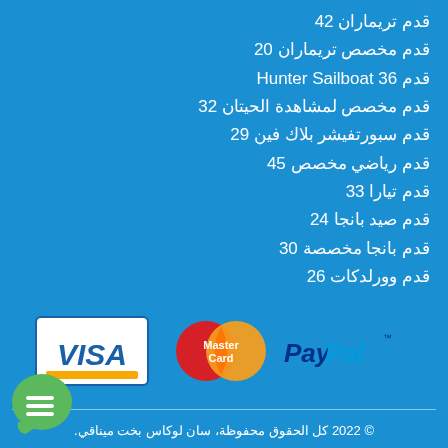قدم تريماران 42
قدم مخصص تريماران 20
قدم Hunter Sailboat 36
قدم مخصص لمشاهدة الحيتان 32
قدم سبورتفيشر بلاك فين 29
قدم رياضي مخصص 45
قدم تيارا 33
قدم صيد بانجا 24
قدم بانجا مخصصة 30
قدم وورلدكات 26
[Figure (logo): Payment logos: VISA, MasterCard, PayPal]
© 2022 كل الحقوق محفوظة، سان لوكاس بخت ميناقي.
جزء من مجموعة التجارة الإلكترونية المحدودة.